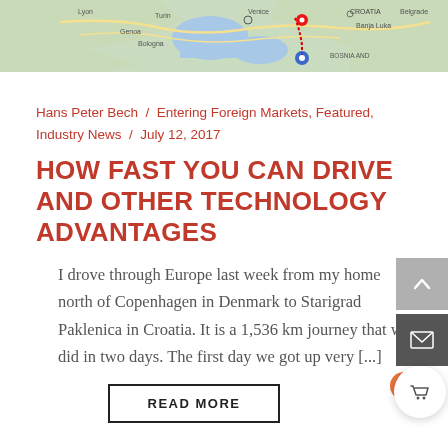[Figure (map): Partial map of Europe showing route from Denmark to Croatia with red and blue location pins]
Hans Peter Bech / Entering Foreign Markets, Featured, Industry News / July 12, 2017
HOW FAST YOU CAN DRIVE AND OTHER TECHNOLOGY ADVANTAGES
I drove through Europe last week from my home north of Copenhagen in Denmark to Starigrad Paklenica in Croatia. It is a 1,536 km journey that we did in two days. The first day we got up very [...]
READ MORE